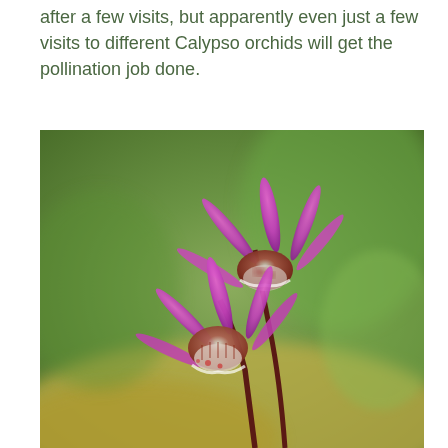after a few visits, but apparently even just a few visits to different Calypso orchids will get the pollination job done.
[Figure (photo): Close-up photograph of two Calypso orchid flowers (Calypso bulbosa) with bright pink-purple petals and reddish-brown slipper-like lips with white and spotted markings, on dark reddish-brown stems, against a soft-focus green and yellow forest floor background.]